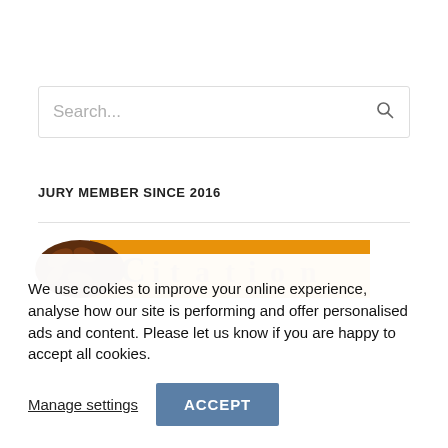Search...
JURY MEMBER SINCE 2016
[Figure (logo): Partial view of a logo with brown and orange colors, partially cropped at the bottom of the visible area]
We use cookies to improve your online experience, analyse how our site is performing and offer personalised ads and content. Please let us know if you are happy to accept all cookies.
Manage settings
ACCEPT